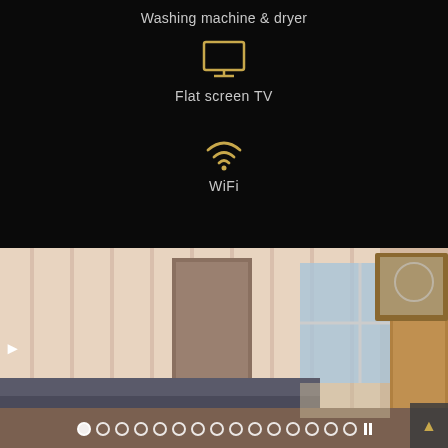Washing machine & dryer
[Figure (illustration): Gold/amber TV monitor icon]
Flat screen TV
[Figure (illustration): Gold/amber WiFi signal icon]
WiFi
[Figure (photo): Bedroom interior with striped wallpaper, bed with dark bedding, wooden dresser with mirror, window with natural light, doorway visible]